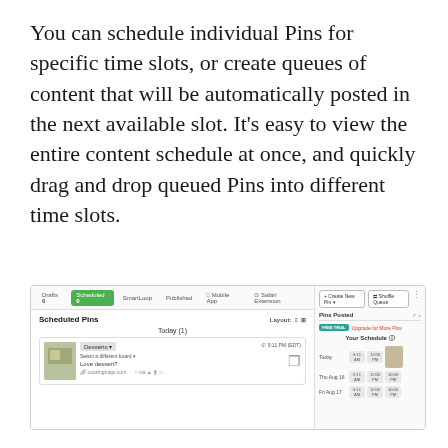You can schedule individual Pins for specific time slots, or create queues of content that will be automatically posted in the next available slot. It's easy to view the entire content schedule at once, and quickly drag and drop queued Pins into different time slots.
[Figure (screenshot): Screenshot of a Pinterest scheduling interface showing Scheduled Pins panel with a pin card for Today (1) containing a dessert pin at 9:11 PM (EDT), and a right panel showing Your Schedule with time slots for Today, Thu Aug 16, and Fri Aug 17.]